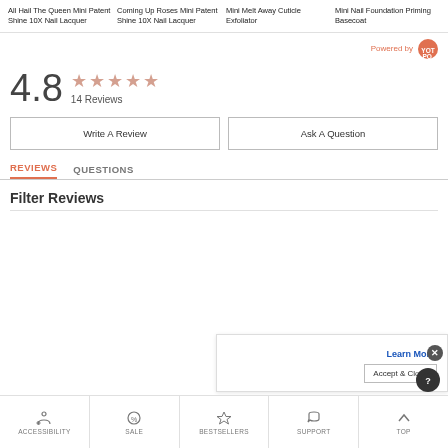All Hail The Queen Mini Patent Shine 10X Nail Lacquer
Coming Up Roses Mini Patent Shine 10X Nail Lacquer
Mini Melt Away Cuticle Exfoliator
Mini Nail Foundation Priming Basecoat
Powered by [Yotpo]
4.8
14 Reviews
Write A Review
Ask A Question
REVIEWS
QUESTIONS
Filter Reviews
Learn More
Accept & Close
ACCESSIBILITY  SALE  BESTSELLERS  SUPPORT  TOP